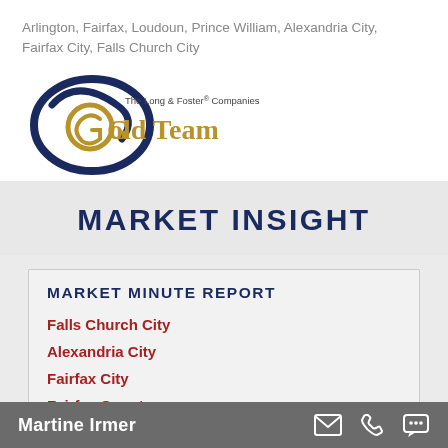Arlington, Fairfax, Loudoun, Prince William, Alexandria City, Fairfax City, Falls Church City
[Figure (logo): Long & Foster Gold Team logo with navy swirl and gold/dark text]
MARKET INSIGHT
MARKET MINUTE REPORT
Falls Church City
Alexandria City
Fairfax City
Fairfax County
Martine Irmer